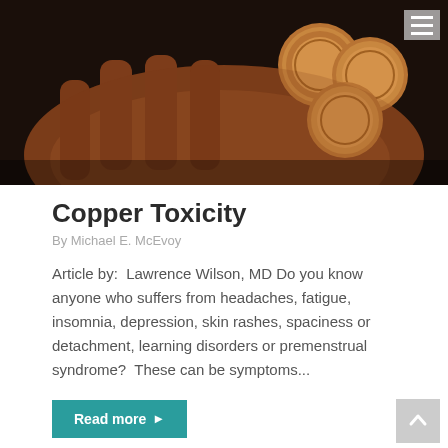[Figure (photo): A hand holding several copper coins against a dark background, skin has a coppery/reddish tone]
Copper Toxicity
By Michael E. McEvoy
Article by:  Lawrence Wilson, MD Do you know anyone who suffers from headaches, fatigue, insomnia, depression, skin rashes, spaciness or detachment, learning disorders or premenstrual syndrome?  These can be symptoms...
Read more ▶